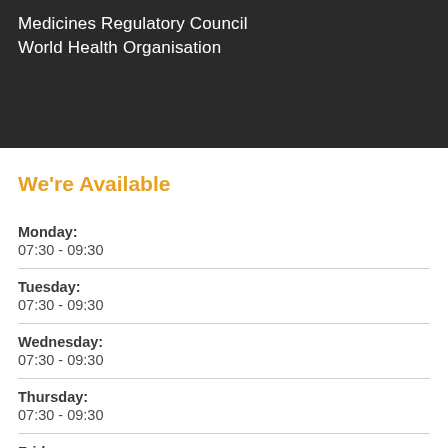Medicines Regulatory Council
World Health Organisation
We're Available
Monday:
07:30 - 09:30
Tuesday:
07:30 - 09:30
Wednesday:
07:30 - 09:30
Thursday:
07:30 - 09:30
Friday: